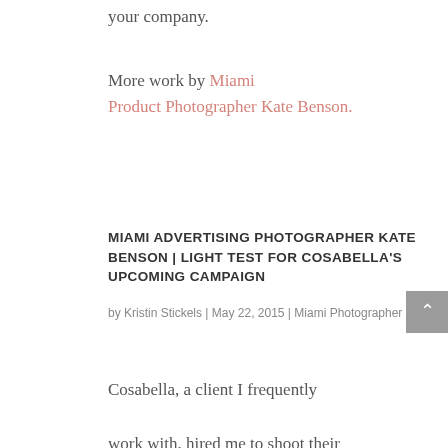your company.
More work by Miami Product Photographer Kate Benson.
MIAMI ADVERTISING PHOTOGRAPHER KATE BENSON | LIGHT TEST FOR COSABELLA'S UPCOMING CAMPAIGN
by Kristin Stickels | May 22, 2015 | Miami Photographer
Cosabella, a client I frequently work with, hired me to shoot their